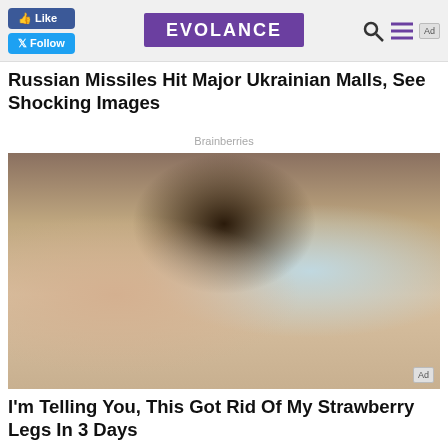Like | EVOLANCE | Follow
Russian Missiles Hit Major Ukrainian Malls, See Shocking Images
Brainberries
[Figure (photo): Woman in bathroom applying iridescent glitter scrub product to her leg, holding a jar of the product, with shower bottles in background]
I'm Telling You, This Got Rid Of My Strawberry Legs In 3 Days